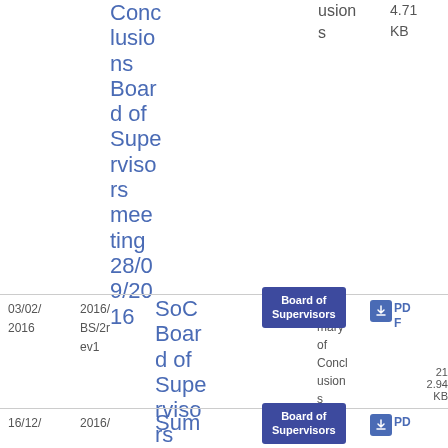| Date | Reference | Title | Body | Type | Download |
| --- | --- | --- | --- | --- | --- |
|  |  | Conclusions Board of Supervisors meeting 28/09/2016 |  | usions | 4.71 KB |
| 03/02/2016 | 2016/BS/2rev1 | SoC Board of Supervisors | Board of Supervisors [tooltip] | Summary of Conclusions | 21 2.94 KB PDF |
| 16/12/ | 2016/ | Sum | Board of Supervisors [tooltip] | Sum | PD |